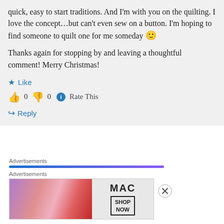quick, easy to start traditions. And I'm with you on the quilting. I love the concept…but can't even sew on a button. I'm hoping to find someone to quilt one for me someday 🙂
Thanks again for stopping by and leaving a thoughtful comment! Merry Christmas!
★ Like
👍 0 👎 0 ℹ Rate This
↪ Reply
Advertisements
Advertisements
[Figure (photo): MAC cosmetics advertisement banner showing lipsticks with MAC logo and SHOP NOW button]